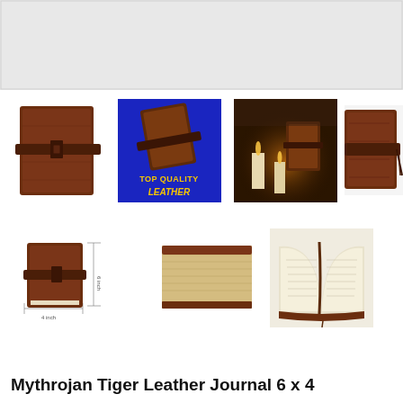[Figure (photo): Main large product image area - leather journal, light grey placeholder background]
[Figure (photo): Thumbnail 1: Dark brown leather journal with strap binding, front view on white background]
[Figure (photo): Thumbnail 2: Leather journal on blue background with text 'Top Quality Leather' in yellow]
[Figure (photo): Thumbnail 3: Leather journal with candles in a dark atmospheric scene]
[Figure (photo): Thumbnail 4: Close-up of leather journal binding with tassel, partially cropped on right]
[Figure (photo): Thumbnail 5: Small leather journal with measurement annotations showing 6 inch and 4 inch dimensions]
[Figure (photo): Thumbnail 6: Stack of pages from the journal showing cream/tan pages from side]
[Figure (photo): Thumbnail 7: Open leather journal showing blank cream pages spread open with bookmark ribbon]
Mythrojan Tiger Leather Journal 6 x 4